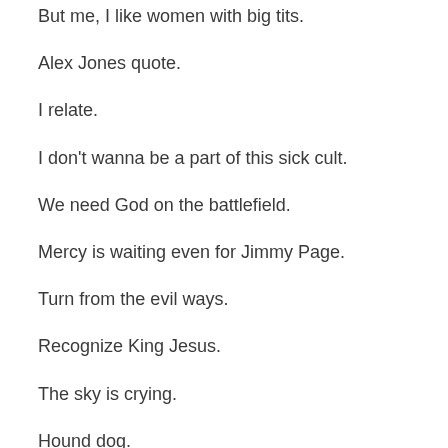But me, I like women with big tits.
Alex Jones quote.
I relate.
I don't wanna be a part of this sick cult.
We need God on the battlefield.
Mercy is waiting even for Jimmy Page.
Turn from the evil ways.
Recognize King Jesus.
The sky is crying.
Hound dog.